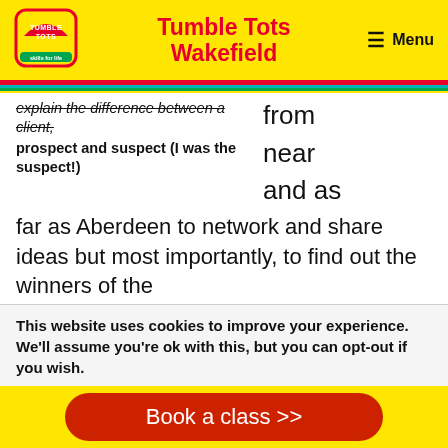Tumble Tots Wakefield
explain the difference between a client, prospect and suspect (I was the suspect!) from near and as far as Aberdeen to network and share ideas but most importantly, to find out the winners of the
This website uses cookies to improve your experience. We'll assume you're ok with this, but you can opt-out if you wish.
Accept | Reject
there!
Book a class >>